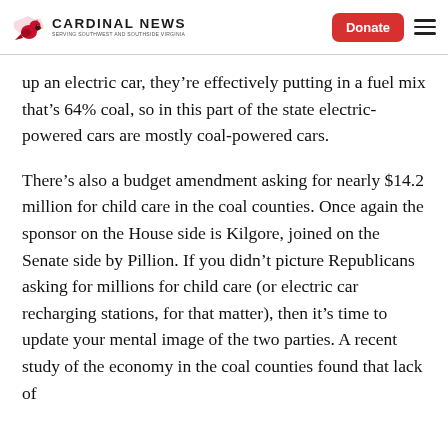Cardinal News | Donate
up an electric car, they’re effectively putting in a fuel mix that’s 64% coal, so in this part of the state electric-powered cars are mostly coal-powered cars.
There’s also a budget amendment asking for nearly $14.2 million for child care in the coal counties. Once again the sponsor on the House side is Kilgore, joined on the Senate side by Pillion. If you didn’t picture Republicans asking for millions for child care (or electric car recharging stations, for that matter), then it’s time to update your mental image of the two parties. A recent study of the economy in the coal counties found that lack of